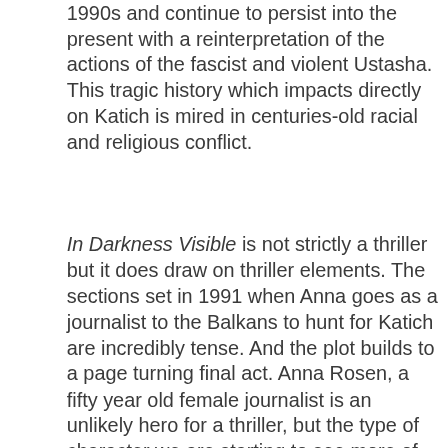1990s and continue to persist into the present with a reinterpretation of the actions of the fascist and violent Ustasha. This tragic history which impacts directly on Katich is mired in centuries-old racial and religious conflict.
In Darkness Visible is not strictly a thriller but it does draw on thriller elements. The sections set in 1991 when Anna goes as a journalist to the Balkans to hunt for Katich are incredibly tense. And the plot builds to a page turning final act. Anna Rosen, a fifty year old female journalist is an unlikely hero for a thriller, but the type of character we are starting to see more of in Australian fiction (the character of Astrid in Heather Rose's Bruny is another recent example).
In Darkness Visible takes the story that Jones started in The Twentieth Man in an interesting and topical direction. He once again draws on tragically real events and characters to craft a rich narrative. While some of the diversions